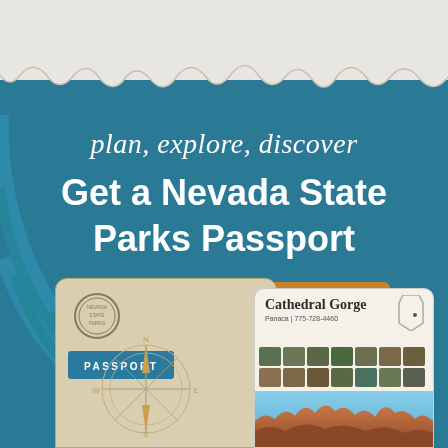[Figure (illustration): Promotional banner for Nevada State Parks Passport program. Teal/blue background with concentric arc pattern, torn white paper edge at top. Features italic script text 'plan, explore, discover', bold title 'Get a Nevada State Parks Passport', orange call-to-action button 'Start your Journey >>', and bottom portion showing passport booklet and Cathedral Gorge park card.]
plan, explore, discover
Get a Nevada State Parks Passport
Start your Journey >>